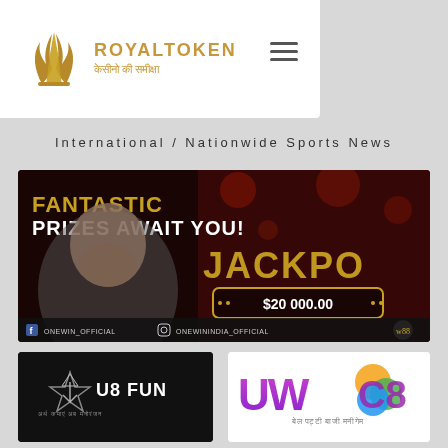[Figure (logo): RoyalToken logo with gold crown/flame emblem and text ROYALTOKEN in gold with Hindi subtitle on white background with hamburger menu icon]
International / Nationwide Sports News
[Figure (photo): Casino jackpot advertisement banner. Text: FANTASTIC PRIZES AWAIT YOU! JACKPO[T] $20 000.00. Shows excited man with beard. Social: ONEWIN_OFFICIAL, ONEWININDIA_OFFICIAL, OW88 logo.]
[Figure (logo): U8 FUN logo on black background with geometric star emblem and Hindi subtitle text]
[Figure (logo): UWC8 logo on white background with colorful sphere/circles and Hindi/Devanagari text below]